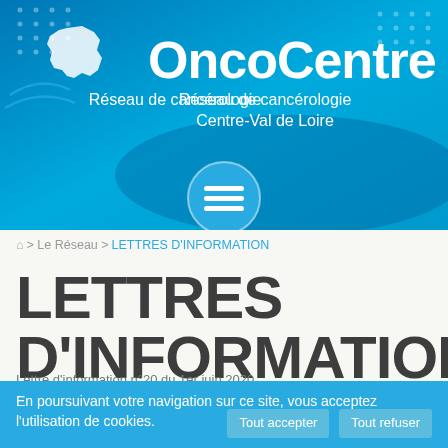[Figure (logo): OncoCentre logo with blue gradient background, white map silhouette of Centre-Val de Loire region on left, and text 'OncoCentre' with subtitle 'Réseau de cancérologie Centre-Val de Loire' on right. Hamburger menu icon in teal circle below.]
🏠 > Le Réseau > LETTRES D'INFORMATION
LETTRES D'INFORMATION
En poursuivant votre navigation sur ce site, vous acceptez l'utilisation de cookies.
Tout accepter    Tout refuser